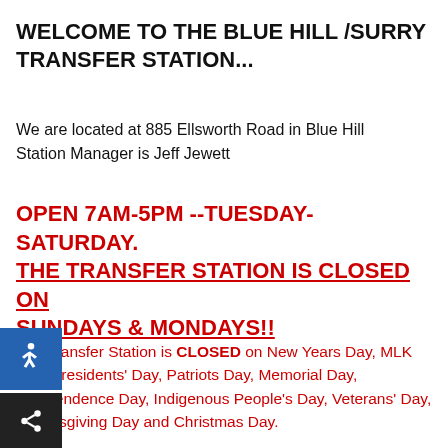WELCOME TO THE BLUE HILL /SURRY TRANSFER STATION...
We are located at 885 Ellsworth Road in Blue Hill
Station Manager is Jeff Jewett
OPEN 7AM-5PM --TUESDAY-SATURDAY. THE TRANSFER STATION IS CLOSED ON SUNDAYS & MONDAYS!!
The Transfer Station is CLOSED on New Years Day, MLK Day, Presidents' Day, Patriots Day, Memorial Day, Independence Day, Indigenous People's Day, Veterans' Day, Thanksgiving Day and Christmas Day.